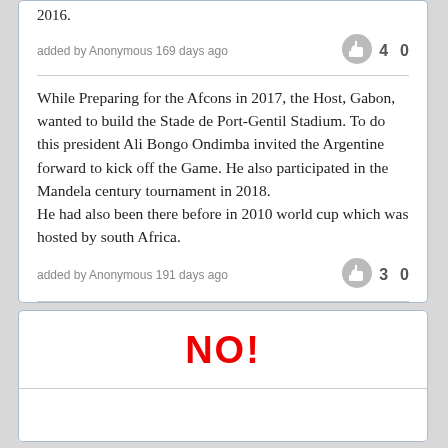2016.
added by Anonymous 169 days ago
While Preparing for the Afcons in 2017, the Host, Gabon, wanted to build the Stade de Port-Gentil Stadium. To do this president Ali Bongo Ondimba invited the Argentine forward to kick off the Game. He also participated in the Mandela century tournament in 2018.
He had also been there before in 2010 world cup which was hosted by south Africa.
added by Anonymous 191 days ago
NO!